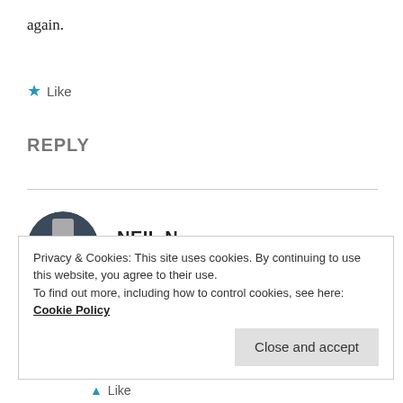again.
★ Like
REPLY
NEIL N
October 9, 2012 at 8:08 am
I didn't mean the post to sound as if I'm beating myself up over it. It's more that I realize I need as
Privacy & Cookies: This site uses cookies. By continuing to use this website, you agree to their use.
To find out more, including how to control cookies, see here: Cookie Policy
Close and accept
▲ Like